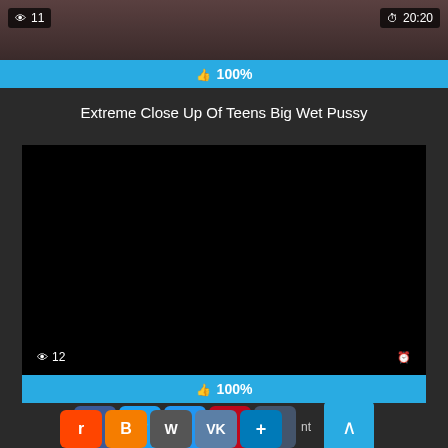[Figure (screenshot): Video thumbnail with view count 11 and duration 20:20, with 100% like bar]
Extreme Close Up Of Teens Big Wet Pussy
[Figure (screenshot): Black video player with view count 12 and clock icon, with 100% like bar below]
[Figure (screenshot): Social media share buttons: Facebook, Twitter, Email, Pinterest, Tumblr, Reddit, Blogger, WordPress, VK, Add, and scroll-to-top button]